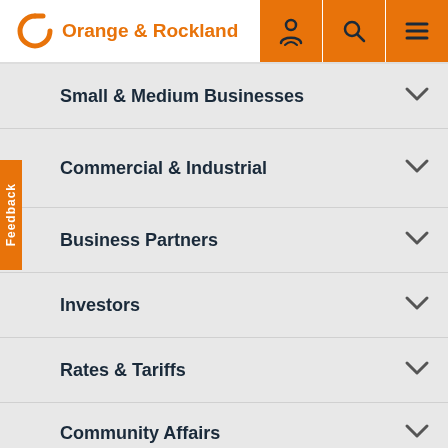Orange & Rockland
Small & Medium Businesses
Commercial & Industrial
Business Partners
Investors
Rates & Tariffs
Community Affairs